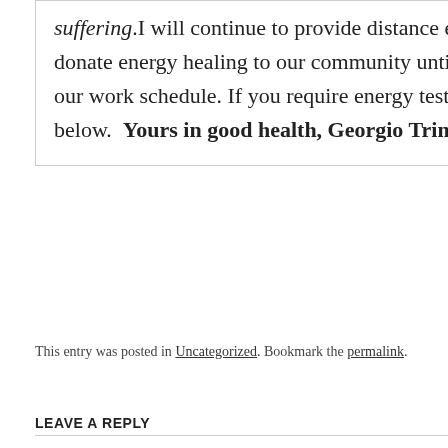suffering. I will continue to provide distance energy testing and donate energy healing to our community until we can all resume our work schedule. If you require energy testing please click below.  Yours in good health, Georgio Trimarchi
This entry was posted in Uncategorized. Bookmark the permalink.
LEAVE A REPLY